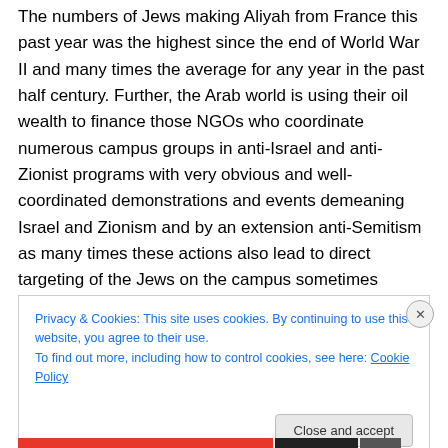The numbers of Jews making Aliyah from France this past year was the highest since the end of World War II and many times the average for any year in the past half century. Further, the Arab world is using their oil wealth to finance those NGOs who coordinate numerous campus groups in anti-Israel and anti-Zionist programs with very obvious and well-coordinated demonstrations and events demeaning Israel and Zionism and by an extension anti-Semitism as many times these actions also lead to direct targeting of the Jews on the campus sometimes placing their lives and health in danger.
Privacy & Cookies: This site uses cookies. By continuing to use this website, you agree to their use.
To find out more, including how to control cookies, see here: Cookie Policy
Close and accept